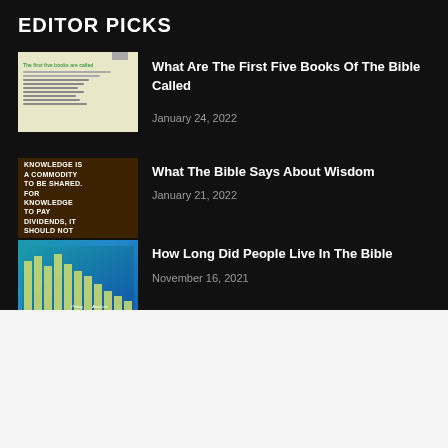EDITOR PICKS
[Figure (screenshot): Thumbnail of a document titled 'The first five books are called' with green text and list items]
What Are The First Five Books Of The Bible Called
January 24, 2022
[Figure (photo): Brown background image with white bold text reading 'KNOWLEDGE IS A COMMODITY TO BE SHARED. FOR KNOWLEDGE TO PAY DIVIDENDS, IT SHOULD NOT']
What The Bible Says About Wisdom
January 21, 2022
[Figure (bar-chart): Bar chart on blue/teal background showing lifespan data with yellow-green bars]
How Long Did People Live In The Bible
November 16, 2021
[Figure (screenshot): Topgolf advertisement showing Ashburn location, OPEN 10AM-11PM, 20356 Commonwealth Center...]